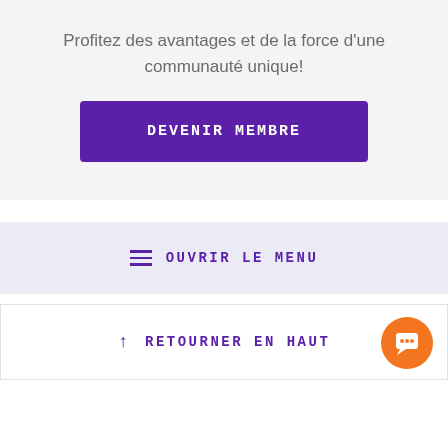Profitez des avantages et de la force d'une communauté unique!
[Figure (other): Purple button labeled DEVENIR MEMBRE]
[Figure (other): Light purple bar with hamburger menu icon and text OUVRIR LE MENU]
[Figure (other): White bar with upward arrow and text RETOURNER EN HAUT, with orange chat bubble button in bottom right]